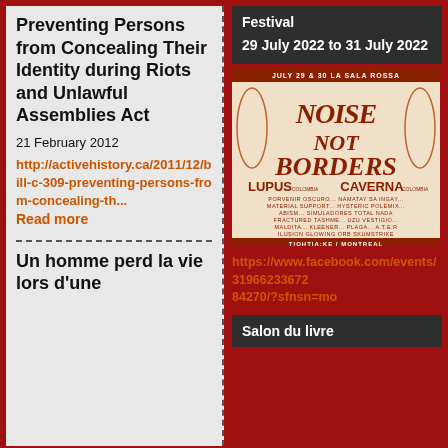Preventing Persons from Concealing Their Identity during Riots and Unlawful Assemblies Act
21 February 2012
http://activehistory.ca/2011/12/bill-c-309-preventing-persons-from-concealing-th... Read more
Un homme perd la vie lors d'une
Festival
29 July 2022 to 31 July 2022
[Figure (illustration): Poster for Noise Not Borders festival at La Sala Rossa, July 29 & 30, Tiohtia:ke / Montreal, featuring band names: Lupus (Colombia), Caverna (Colombia), Porvenir Oscuro, Namatay Sa Ingay, Material Support, Hysteric Polemix, Abism, Simuladores, Total Nada, Fractured, Tashme, Uzu, Vestigio, Maldita, Kleener, Plaga, A.T.E.R, Ilusion, Glowing Orb, Skumstrike]
https://www.facebook.com/events/319662336728 4270/?sfnsn=mo
Salon du livre